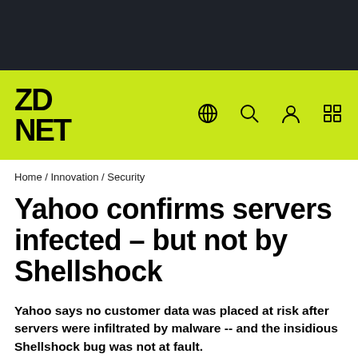[Figure (logo): ZDNet logo on lime green navigation bar with globe, search, user, and grid icons]
Home / Innovation / Security
Yahoo confirms servers infected – but not by Shellshock
Yahoo says no customer data was placed at risk after servers were infiltrated by malware -- and the insidious Shellshock bug was not at fault.